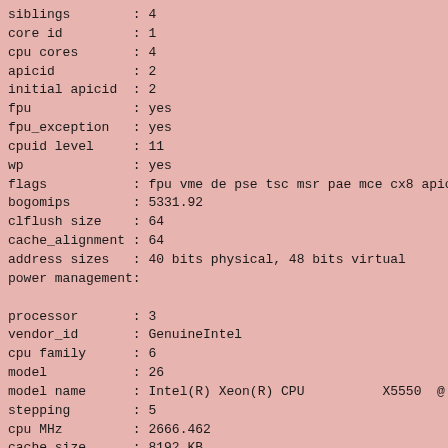siblings        : 4
core id         : 1
cpu cores       : 4
apicid          : 2
initial apicid  : 2
fpu             : yes
fpu_exception   : yes
cpuid level     : 11
wp              : yes
flags           : fpu vme de pse tsc msr pae mce cx8 apic mtr
bogomips        : 5331.92
clflush size    : 64
cache_alignment : 64
address sizes   : 40 bits physical, 48 bits virtual
power management:

processor       : 3
vendor_id       : GenuineIntel
cpu family      : 6
model           : 26
model name      : Intel(R) Xeon(R) CPU          X5550  @ 2.6
stepping        : 5
cpu MHz         : 2666.462
cache size      : 8192 KB
physical id     : 1
siblings        : 4
core id         : 1
cpu cores       : 4
apicid          : 18
initial apicid  : 18
fpu             : yes
fpu_exception   : yes